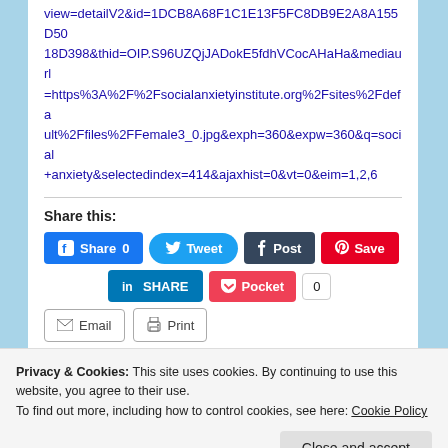view=detailV2&id=1DCB8A68F1C1E13F5FC8DB9E2A8A155D5018D398&thid=OIP.S96UZQjJADokE5fdhVCocAHaHa&mediaurl=https%3A%2F%2Fsocialanxietyinstitute.org%2Fsites%2Fdefault%2Ffiles%2FFemale3_0.jpg&exph=360&expw=360&q=social+anxiety&selectedindex=414&ajaxhist=0&vt=0&eim=1,2,6
Share this:
[Figure (screenshot): Social sharing buttons: Facebook Share 0, Tweet, Tumblr Post, Pinterest Save, LinkedIn SHARE, Pocket 0, Email, Print]
Loading...
Privacy & Cookies: This site uses cookies. By continuing to use this website, you agree to their use.
To find out more, including how to control cookies, see here: Cookie Policy
Close and accept